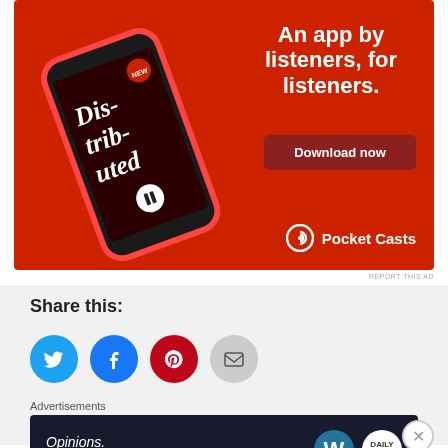[Figure (infographic): Pocket Casts app advertisement banner on red background showing a smartphone with the 'Distributed' podcast, text 'An app by listeners, for listeners.' with a 'Download now' button and Pocket Casts logo]
REPORT THIS AD
Share this:
[Figure (infographic): Social share icons: Twitter (blue bird), Facebook (blue f), Pinterest (red P), Email (grey envelope)]
Advertisements
[Figure (infographic): WordPress.com advertisement: dark background with text 'Opinions. We all have them!' and WordPress and Daily Now logos]